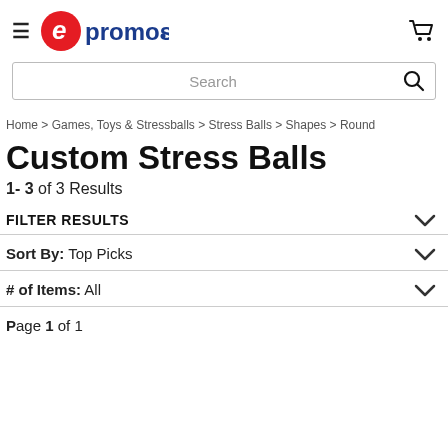[Figure (logo): epromos logo with red stylized 'e' in oval and blue 'promos.' text]
Search
Home > Games, Toys & Stressballs > Stress Balls > Shapes > Round
Custom Stress Balls
1- 3 of 3 Results
FILTER RESULTS
Sort By: Top Picks
# of Items: All
Page 1 of 1